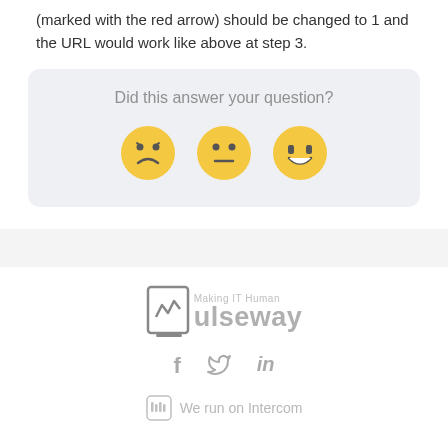(marked with the red arrow) should be changed to 1 and the URL would work like above at step 3.
[Figure (infographic): Feedback widget with text 'Did this answer your question?' and three emoji faces: disappointed, neutral, and grinning.]
[Figure (logo): Pulseway logo with tagline 'Making IT Human' and a tablet/monitor icon]
[Figure (infographic): Social media icons: Facebook (f), Twitter (bird), LinkedIn (in)]
We run on Intercom